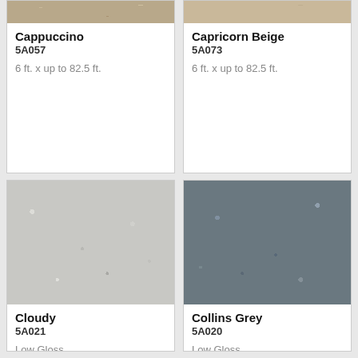[Figure (photo): Cappuccino flooring swatch — warm sandy tan textured surface, cropped at top]
Cappuccino
5A057

6 ft. x up to 82.5 ft.
[Figure (photo): Capricorn Beige flooring swatch — light beige textured surface, cropped at top]
Capricorn Beige
5A073

6 ft. x up to 82.5 ft.
[Figure (photo): Cloudy flooring swatch — light grey speckled textured surface]
Cloudy
5A021

Low Gloss
6 ft. x up to 82.5 ft.
[Figure (photo): Collins Grey flooring swatch — dark blue-grey speckled textured surface]
Collins Grey
5A020

Low Gloss
6 ft. x up to 82.5 ft.